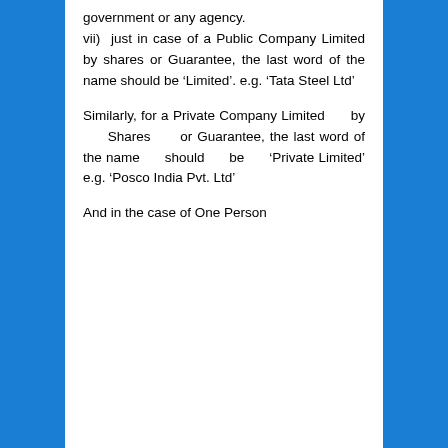government or any agency.
vii) just in case of a Public Company Limited by shares or Guarantee, the last word of the name should be ‘Limited’. e.g. ‘Tata Steel Ltd’
Similarly, for a Private Company Limited by Shares or Guarantee, the last word of the name should be ‘Private Limited’ e.g. ‘Posco India Pvt. Ltd’
And in the case of One Person